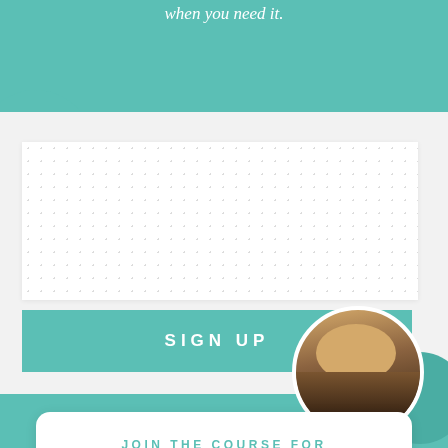when you need it.
[Figure (photo): Circular profile photo of a person with blonde hair, partially visible, positioned at bottom right of the white section.]
SIGN UP
JOIN THE COURSE FOR
$29